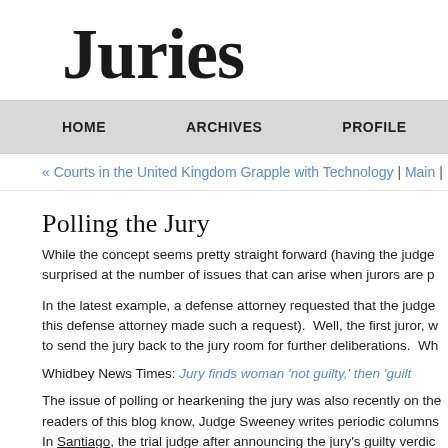Juries
HOME   ARCHIVES   PROFILE
« Courts in the United Kingdom Grapple with Technology | Main |
Polling the Jury
While the concept seems pretty straight forward (having the judge... surprised at the number of issues that can arise when jurors are p...
In the latest example, a defense attorney requested that the judge... this defense attorney made such a request). Well, the first juror, w... to send the jury back to the jury room for further deliberations. Wh...
Whidbey News Times: Jury finds woman 'not guilty,' then 'guilt...
The issue of polling or hearkening the jury was also recently on the... readers of this blog know, Judge Sweeney writes periodic columns... In Santiago, the trial judge after announcing the jury's guilty verdic...